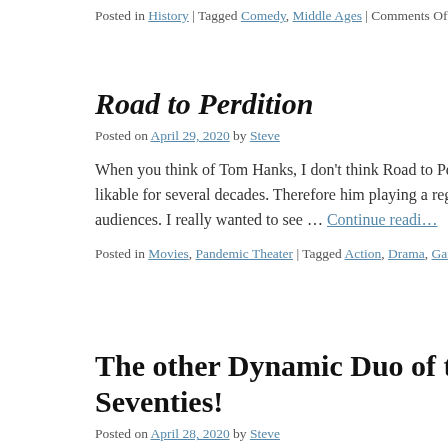Posted in History | Tagged Comedy, Middle Ages | Comments Off
Road to Perdition
Posted on April 29, 2020 by Steve
When you think of Tom Hanks, I don't think Road to Perdition … been so likable for several decades. Therefore him playing a reg… stretch with audiences. I really wanted to see … Continue reading →
Posted in Movies, Pandemic Theater | Tagged Action, Drama, Gangsters, Thi…
The other Dynamic Duo of the Seventies!
Posted on April 28, 2020 by Steve
A whole new generation of kids was going to be introduced to B… month via an upcoming Scooby Doo movie but the Pandemic k… out digitally though. For me, I … Continue reading →
Posted in Cool, Shirts, TV | Tagged Cartoons, Hanna-Barbera, Seventies, Su…